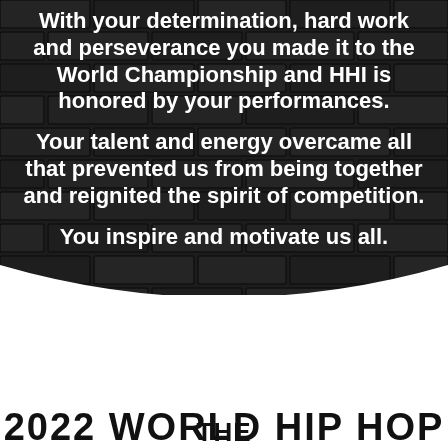[Figure (illustration): Dark brick wall background with white bold text overlay in three paragraphs, followed by a white bottom section with black bold text.]
With your determination, hard work and perseverance you made it to the World Championship and HHI is honored by your performances.
Your talent and energy overcame all that prevented us from being together and reignited the spirit of competition.
You inspire and motivate us all.
THE
2022 WORLD HIP HOP